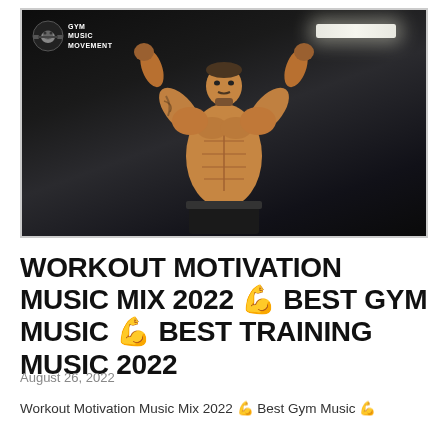[Figure (photo): A muscular shirtless bodybuilder with tattoos posing with arms raised in a dark gym setting. A 'Gym Music Movement' logo with gorilla icon appears in the top-left corner of the photo. A ceiling light strip is visible in the upper right.]
WORKOUT MOTIVATION MUSIC MIX 2022 💪 BEST GYM MUSIC 💪 BEST TRAINING MUSIC 2022
August 26, 2022
Workout Motivation Music Mix 2022 💪 Best Gym Music 💪